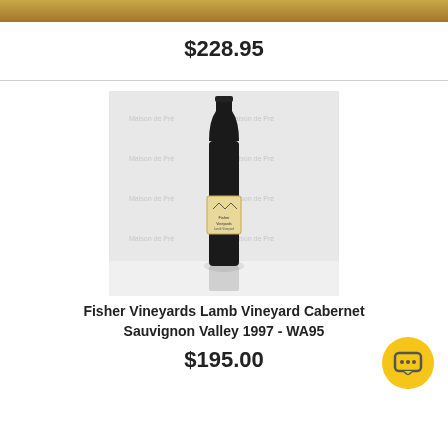$228.95
[Figure (photo): A dark wine bottle with a light label reading 'Fisher Vineyards Lamb Vineyard', photographed against a white backdrop with repeated heraldic crest watermarks.]
Fisher Vineyards Lamb Vineyard Cabernet Sauvignon Valley 1997 - WA95
$195.00